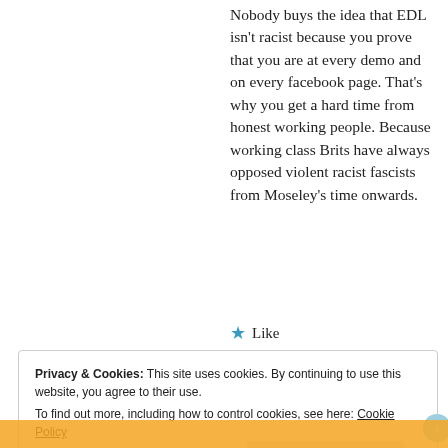Nobody buys the idea that EDL isn't racist because you prove that you are at every demo and on every facebook page. That's why you get a hard time from honest working people. Because working class Brits have always opposed violent racist fascists from Moseley's time onwards.
★ Like
Privacy & Cookies: This site uses cookies. By continuing to use this website, you agree to their use. To find out more, including how to control cookies, see here: Cookie Policy
Close and accept